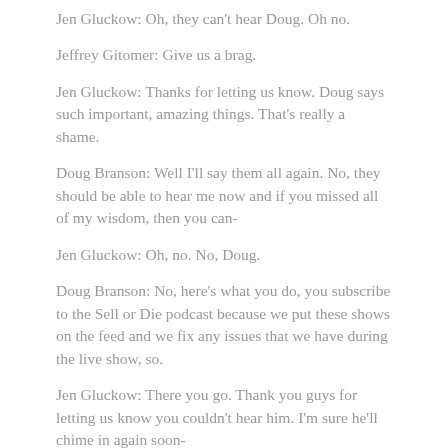Jen Gluckow: Oh, they can't hear Doug. Oh no.
Jeffrey Gitomer: Give us a brag.
Jen Gluckow: Thanks for letting us know. Doug says such important, amazing things. That's really a shame.
Doug Branson: Well I'll say them all again. No, they should be able to hear me now and if you missed all of my wisdom, then you can-
Jen Gluckow: Oh, no. No, Doug.
Doug Branson: No, here's what you do, you subscribe to the Sell or Die podcast because we put these shows on the feed and we fix any issues that we have during the live show, so.
Jen Gluckow: There you go. Thank you guys for letting us know you couldn't hear him. I'm sure he'll chime in again soon-